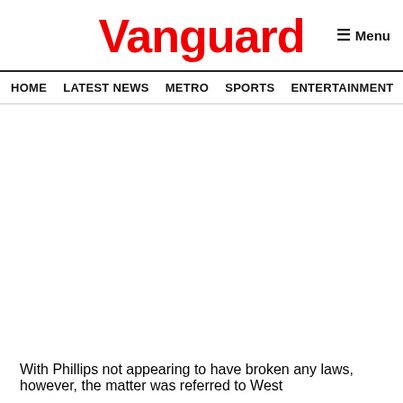Vanguard
HOME  LATEST NEWS  METRO  SPORTS  ENTERTAINMENT  VIDEOS
With Phillips not appearing to have broken any laws, however, the matter was referred to West